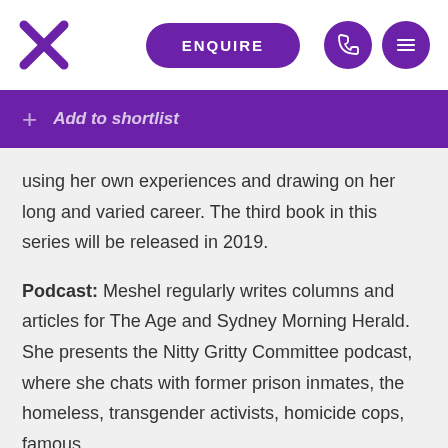[Figure (logo): Purple X logo mark]
[Figure (infographic): Purple pill-shaped ENQUIRE button, phone icon circle, hamburger menu icon circle]
Add to shortlist
using her own experiences and drawing on her long and varied career. The third book in this series will be released in 2019.
Podcast: Meshel regularly writes columns and articles for The Age and Sydney Morning Herald. She presents the Nitty Gritty Committee podcast, where she chats with former prison inmates, the homeless, transgender activists, homicide cops, famous